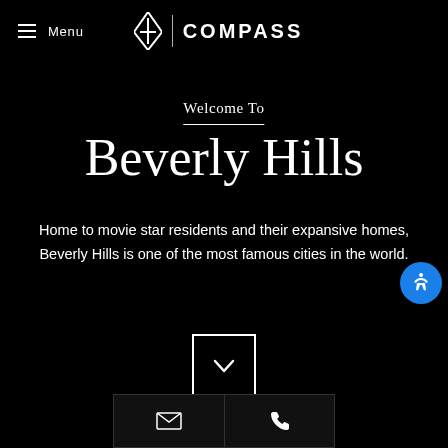Menu | COMPASS
Welcome To
Beverly Hills
Home to movie star residents and their expansive homes, Beverly Hills is one of the most famous cities in the world.
[Figure (other): Chevron/down arrow button inside a square border]
[Figure (other): Accessibility icon button (blue circle with person/accessibility symbol)]
Contact buttons: email and phone